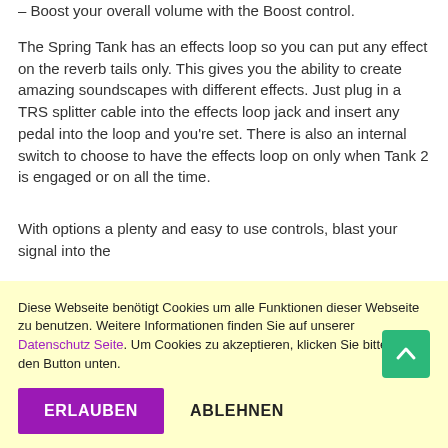– Boost your overall volume with the Boost control.
The Spring Tank has an effects loop so you can put any effect on the reverb tails only. This gives you the ability to create amazing soundscapes with different effects. Just plug in a TRS splitter cable into the effects loop jack and insert any pedal into the loop and you're set. There is also an internal switch to choose to have the effects loop on only when Tank 2 is engaged or on all the time.
With options a plenty and easy to use controls, blast your signal into the
Diese Webseite benötigt Cookies um alle Funktionen dieser Webseite zu benutzen. Weitere Informationen finden Sie auf unserer Datenschutz Seite. Um Cookies zu akzeptieren, klicken Sie bitte auf den Button unten.
ERLAUBEN
ABLEHNEN